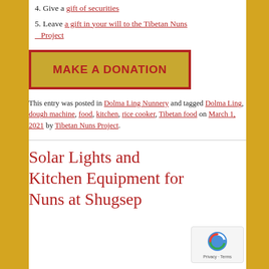4. Give a gift of securities
5. Leave a gift in your will to the Tibetan Nuns Project
MAKE A DONATION
This entry was posted in Dolma Ling Nunnery and tagged Dolma Ling, dough machine, food, kitchen, rice cooker, Tibetan food on March 1, 2021 by Tibetan Nuns Project.
Solar Lights and Kitchen Equipment for Nuns at Shugsep